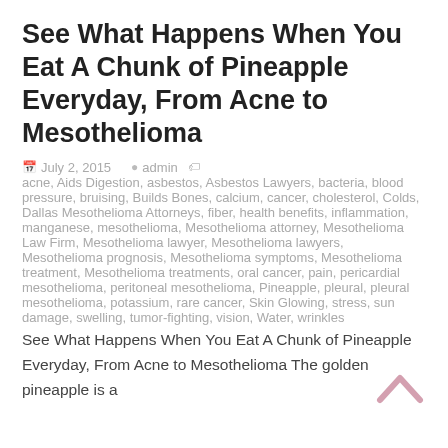See What Happens When You Eat A Chunk of Pineapple Everyday, From Acne to Mesothelioma
July 2, 2015   admin   acne, Aids Digestion, asbestos, Asbestos Lawyers, bacteria, blood pressure, bruising, Builds Bones, calcium, cancer, cholesterol, Colds, Dallas Mesothelioma Attorneys, fiber, health benefits, inflammation, manganese, mesothelioma, Mesothelioma attorney, Mesothelioma Law Firm, Mesothelioma lawyer, Mesothelioma lawyers, Mesothelioma prognosis, Mesothelioma symptoms, Mesothelioma treatment, Mesothelioma treatments, oral cancer, pain, pericardial mesothelioma, peritoneal mesothelioma, Pineapple, pleural, pleural mesothelioma, potassium, rare cancer, Skin Glowing, stress, sun damage, swelling, tumor-fighting, vision, Water, wrinkles
See What Happens When You Eat A Chunk of Pineapple Everyday, From Acne to Mesothelioma The golden pineapple is a